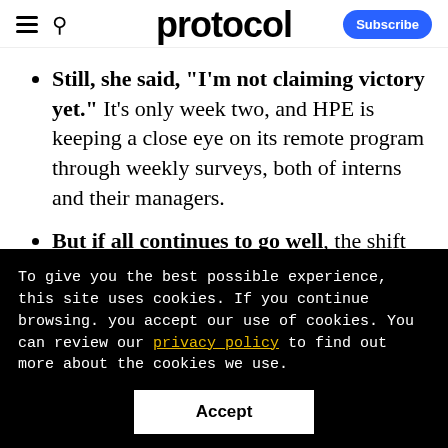protocol  Subscribe
Still, she said, "I'm not claiming victory yet." It's only week two, and HPE is keeping a close eye on its remote program through weekly surveys, both of interns and their managers.
But if all continues to go well, the shift to a hybrid remote/in-person internship
To give you the best possible experience, this site uses cookies. If you continue browsing. you accept our use of cookies. You can review our privacy policy to find out more about the cookies we use.
Accept